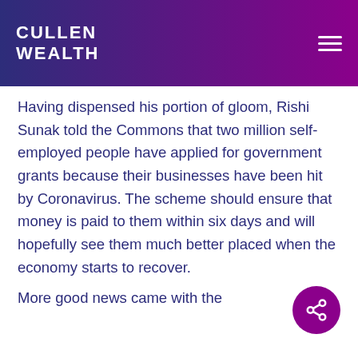CULLEN WEALTH
Having dispensed his portion of gloom, Rishi Sunak told the Commons that two million self-employed people have applied for government grants because their businesses have been hit by Coronavirus. The scheme should ensure that money is paid to them within six days and will hopefully see them much better placed when the economy starts to recover.
More good news came with the